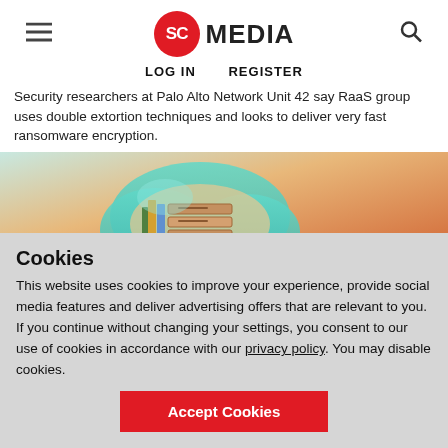SC MEDIA — LOG IN | REGISTER
Security researchers at Palo Alto Network Unit 42 say RaaS group uses double extortion techniques and looks to deliver very fast ransomware encryption.
[Figure (illustration): 3D illustration of a cloud storage concept with server stacks inside a teal cloud shape on an orange/warm gradient background]
Cookies
This website uses cookies to improve your experience, provide social media features and deliver advertising offers that are relevant to you. If you continue without changing your settings, you consent to our use of cookies in accordance with our privacy policy. You may disable cookies.
Accept Cookies